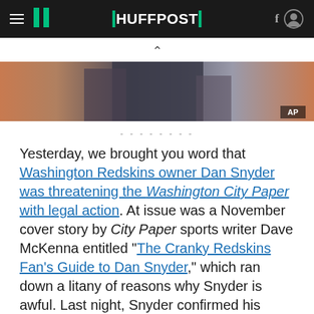HuffPost navigation bar
[Figure (photo): Partial photo of a person, cropped, with AP watermark badge in bottom right corner]
Yesterday, we brought you word that Washington Redskins owner Dan Snyder was threatening the Washington City Paper with legal action. At issue was a November cover story by City Paper sports writer Dave McKenna entitled "The Cranky Redskins Fan's Guide to Dan Snyder," which ran down a litany of reasons why Snyder is awful. Last night, Snyder confirmed his essential awfulness, by pulling the trigger on his stupid